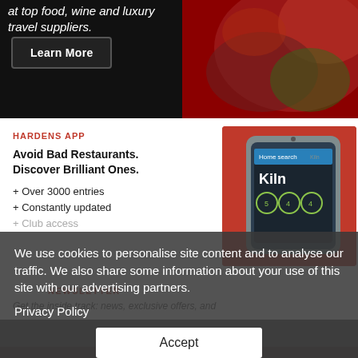at top food, wine and luxury travel suppliers.
Learn More
HARDENS APP
Avoid Bad Restaurants. Discover Brilliant Ones.
+ Over 3000 entries
+ Constantly updated
+ Club access
[Figure (photo): Smartphone showing Hardens app with Kiln restaurant listing on red background]
We use cookies to personalise site content and to analyse our traffic. We also share some information about your use of this site with our advertising partners.
Privacy Policy
NEWSLETTER
Get the inside track: news, exclusive offers, and
Accept